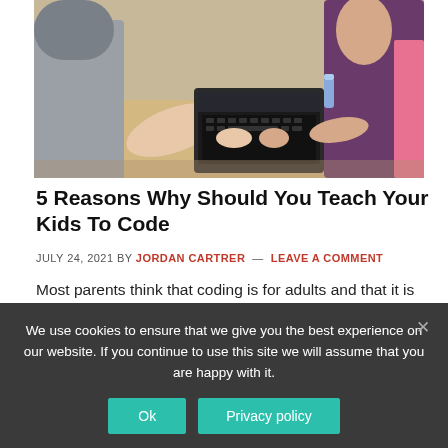[Figure (photo): Students gathered around a laptop on a desk; multiple hands visible reaching toward the keyboard; classroom setting with young people learning to code]
5 Reasons Why Should You Teach Your Kids To Code
JULY 24, 2021 BY JORDAN CARTRER — LEAVE A COMMENT
Most parents think that coding is for adults and that it is difficult for kids to grasp it. But they forget that
We use cookies to ensure that we give you the best experience on our website. If you continue to use this site we will assume that you are happy with it.